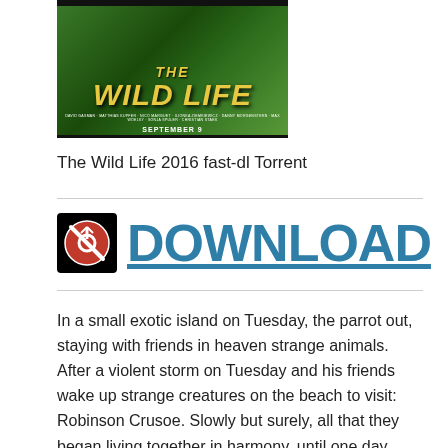[Figure (illustration): Movie poster for 'The Wild Life' animated film showing jungle scene with characters. Text reads 'THE WILD LIFE' in yellow stylized lettering with 'SEPTEMBER 9' date at bottom on dark background.]
The Wild Life 2016 fast-dl Torrent
[Figure (other): Download button area with a black square icon containing a red circle with biohazard/no symbol and the word DOWNLOAD in large teal/blue underlined text.]
In a small exotic island on Tuesday, the parrot out, staying with friends in heaven strange animals. After a violent storm on Tuesday and his friends wake up strange creatures on the beach to visit: Robinson Crusoe. Slowly but surely, all that they began living together in harmony, until one day when his